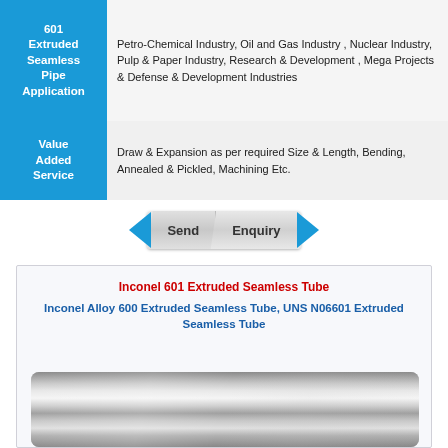601 Extruded Seamless Pipe Application
Petro-Chemical Industry, Oil and Gas Industry, Nuclear Industry, Pulp & Paper Industry, Research & Development, Mega Projects & Defense & Development Industries
Value Added Service
Draw & Expansion as per required Size & Length, Bending, Annealed & Pickled, Machining Etc.
[Figure (infographic): Send Enquiry button with blue arrow decorations]
Inconel 601 Extruded Seamless Tube
Inconel Alloy 600 Extruded Seamless Tube, UNS N06601 Extruded Seamless Tube
[Figure (photo): Photo of shiny metallic seamless tubes]